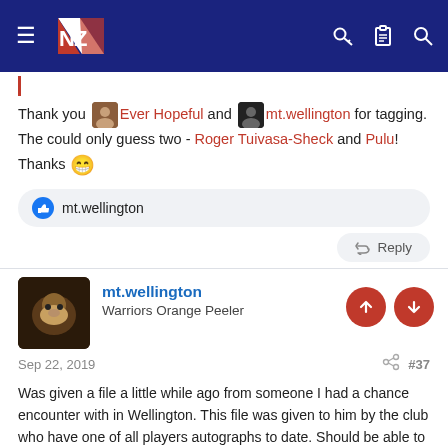NZ Warriors forum navigation bar
Thank you [avatar] Ever Hopeful and [avatar] mt.wellington for tagging. The could only guess two - Roger Tuivasa-Sheck and Pulu! Thanks 😁
👍 mt.wellington
Reply
mt.wellington
Warriors Orange Peeler
Sep 22, 2019  #37
Was given a file a little while ago from someone I had a chance encounter with in Wellington. This file was given to him by the club who have one of all players autographs to date. Should be able to get